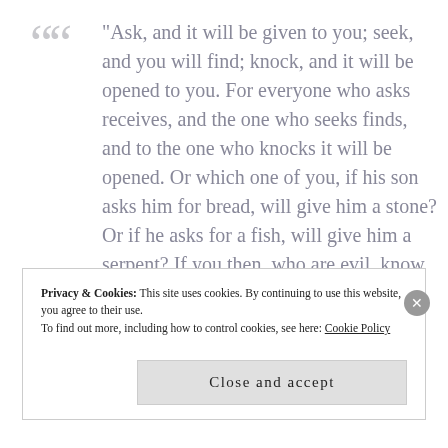"Ask, and it will be given to you; seek, and you will find; knock, and it will be opened to you. For everyone who asks receives, and the one who seeks finds, and to the one who knocks it will be opened. Or which one of you, if his son asks him for bread, will give him a stone? Or if he asks for a fish, will give him a serpent? If you then, who are evil, know how to give good gifts to your children, how much more will your Father who is in heaven give good things to those who ask him!" (Mt. 7:7-11)?
Privacy & Cookies: This site uses cookies. By continuing to use this website, you agree to their use.
To find out more, including how to control cookies, see here: Cookie Policy
Close and accept